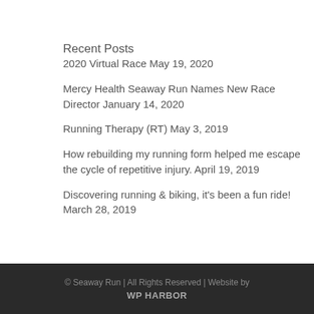Recent Posts
2020 Virtual Race May 19, 2020
Mercy Health Seaway Run Names New Race Director January 14, 2020
Running Therapy (RT) May 3, 2019
How rebuilding my running form helped me escape the cycle of repetitive injury. April 19, 2019
Discovering running & biking, it's been a fun ride! March 28, 2019
© Seaway Run | All Rights Reserved | Website by WP HARBOR